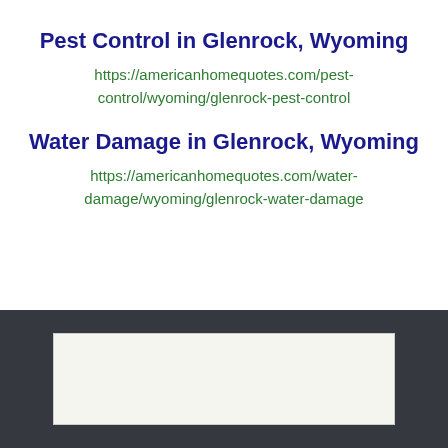Pest Control in Glenrock, Wyoming
https://americanhomequotes.com/pest-control/wyoming/glenrock-pest-control
Water Damage in Glenrock, Wyoming
https://americanhomequotes.com/water-damage/wyoming/glenrock-water-damage
[Figure (other): Dark gray footer section with a white/light colored rectangular box in the center]